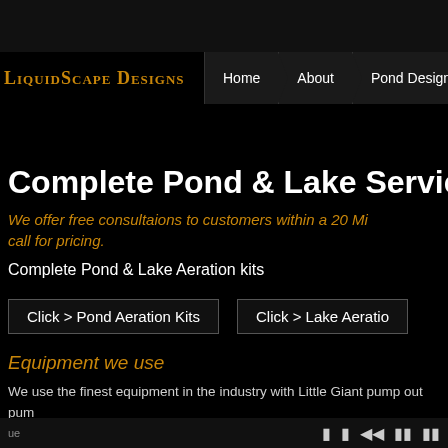LiquidScape Designs | Home | About | Pond Design
Complete Pond & Lake Services
We offer free consultaions to customers within a 20 Mile radius, call for pricing.
Complete Pond & Lake Aeration kits
Click > Pond Aeration Kits
Click > Lake Aeration
Equipment we use
We use the finest equipment in the industry with Little Giant pump out pumps, compliant energy presure washers with special attachements to achieve the and filtration for your fish while cleaning out your pond. We strive to be the
ue